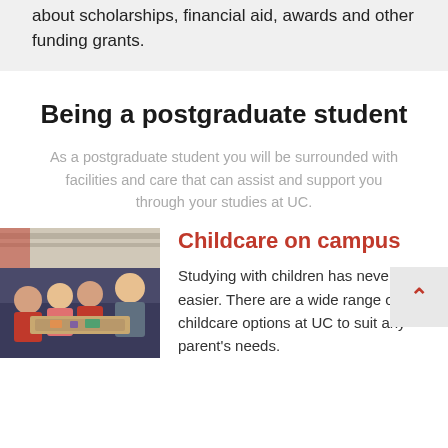about scholarships, financial aid, awards and other funding grants.
Being a postgraduate student
As a postgraduate student you will be surrounded with facilities and care that can assist and support you through your studies at UC.
[Figure (photo): Children sitting around a table working on an activity together in a classroom setting, with an adult supervising.]
Childcare on campus
Studying with children has never been easier. There are a wide range of childcare options at UC to suit any parent's needs.